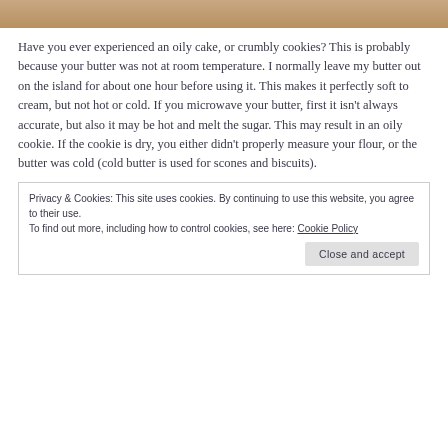[Figure (photo): Photo of food/baking item at the top of the page, partially cropped]
Have you ever experienced an oily cake, or crumbly cookies? This is probably because your butter was not at room temperature. I normally leave my butter out on the island for about one hour before using it. This makes it perfectly soft to cream, but not hot or cold. If you microwave your butter, first it isn’t always accurate, but also it may be hot and melt the sugar. This may result in an oily cookie. If the cookie is dry, you either didn’t properly measure your flour, or the butter was cold (cold butter is used for scones and biscuits).
Privacy & Cookies: This site uses cookies. By continuing to use this website, you agree to their use.
To find out more, including how to control cookies, see here: Cookie Policy
Close and accept